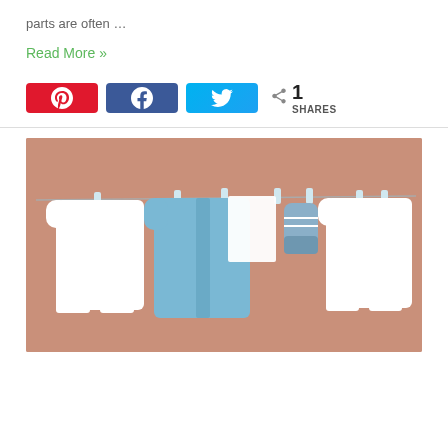parts are often …
Read More »
[Figure (infographic): Social share buttons: Pinterest (red), Facebook (dark blue), Twitter (light blue), and a share count showing 1 SHARES]
[Figure (photo): Baby clothes hanging on a clothesline against a pink/salmon background: two white onesies, a blue knit cardigan, a white card/label, and blue striped baby socks/shoes, held by clear plastic clothespins]